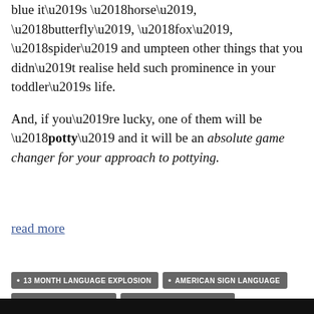blue it’s ‘horse’, ‘butterfly’, ‘fox’, ‘spider’ and umpteen other things that you didn’t realise held such prominence in your toddler’s life.

And, if you’re lucky, one of them will be ‘potty’ and it will be an absolute game changer for your approach to pottying.
read more
13 MONTH LANGUAGE EXPLOSION
AMERICAN SIGN LANGUAGE
BABY SIGN LANGUAGE
BRITISH SIGN LANGUAGE
FOUR PHASES OF UNDERSTANDING
MAKATON
POTTY SIGN